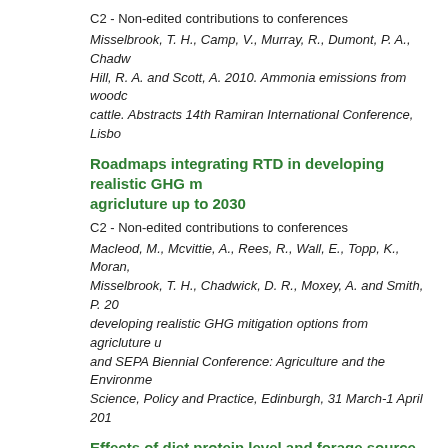C2 - Non-edited contributions to conferences
Misselbrook, T. H., Camp, V., Murray, R., Dumont, P. A., Chadw... Hill, R. A. and Scott, A. 2010. Ammonia emissions from woodc... cattle. Abstracts 14th Ramiran International Conference, Lisbo...
Roadmaps integrating RTD in developing realistic GHG m... agricluture up to 2030
C2 - Non-edited contributions to conferences
Macleod, M., Mcvittie, A., Rees, R., Wall, E., Topp, K., Moran, ... Misselbrook, T. H., Chadwick, D. R., Moxey, A. and Smith, P. 20... developing realistic GHG mitigation options from agricluture u... and SEPA Biennial Conference: Agriculture and the Environme... Science, Policy and Practice, Edinburgh, 31 March-1 April 201...
Effects of diet protein level and forage source on energ... methane and nitrogen excretion in lactating dairy cows
C2 - Non-edited contributions to conferences
Reynolds, C. K., Crompton, L. A., Mills, J. A. N., Humphries, D. J.,... Misselbrook, T. H., Chadwick, D. R. and Givens, D. I. 2010. Effe... forage source on energy and nitrogen balance and methane a...